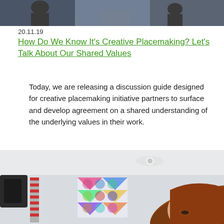[Figure (photo): Top photo strip showing people in a room, partially visible at top of page]
20.11.19
How Do We Know It’s Creative Placemaking? Let’s Talk About Our Shared Values
Today, we are releasing a discussion guide designed for creative placemaking initiative partners to surface and develop agreement on a shared understanding of the underlying values in their work.
[Figure (photo): Photo of a woman with red/auburn hair looking down, colorful patterned artwork on wall behind her, ceiling fan visible above, indoor setting]